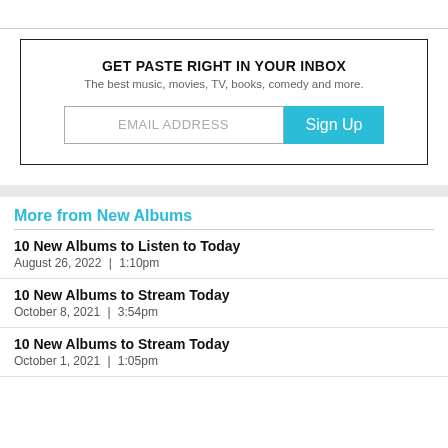[Figure (other): Email newsletter signup box with title 'GET PASTE RIGHT IN YOUR INBOX', subtitle text, email input field and Sign Up button]
More from New Albums
10 New Albums to Listen to Today
August 26, 2022  |  1:10pm
10 New Albums to Stream Today
October 8, 2021  |  3:54pm
10 New Albums to Stream Today
October 1, 2021  |  1:05pm